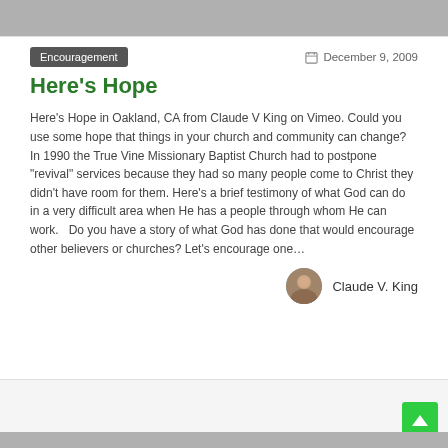Encouragement
December 9, 2009
Here's Hope
Here's Hope in Oakland, CA from Claude V King on Vimeo. Could you use some hope that things in your church and community can change?   In 1990 the True Vine Missionary Baptist Church had to postpone "revival" services because they had so many people come to Christ they didn't have room for them. Here's a brief testimony of what God can do in a very difficult area when He has a people through whom He can work.   Do you have a story of what God has done that would encourage other believers or churches? Let's encourage one…
Claude V. King